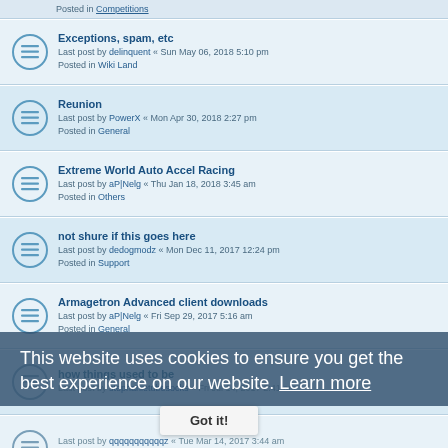Posted in Competitions
Exceptions, spam, etc
Last post by delinquent « Sun May 06, 2018 5:10 pm
Posted in Wiki Land
Reunion
Last post by PowerX « Mon Apr 30, 2018 2:27 pm
Posted in General
Extreme World Auto Accel Racing
Last post by aP|Nelg « Thu Jan 18, 2018 3:45 am
Posted in Others
not shure if this goes here
Last post by dedogmodz « Mon Dec 11, 2017 12:24 pm
Posted in Support
Armagetron Advanced client downloads
Last post by aP|Nelg « Fri Sep 29, 2017 5:16 am
Posted in General
how things used to be
Last post by stephanietubesocks « Fri Jul 14, 2017 2:41 am
Last post by qqqqqqqqqqqz « Tue Mar 14, 2017 3:44 am
Posted in Server Administration/Setup
hello oops team
Last post by Fungus « Wed Jan 11, 2017 9:37 pm
Posted in oops team
Star Trek: Beyond
This website uses cookies to ensure you get the best experience on our website. Learn more
Got it!